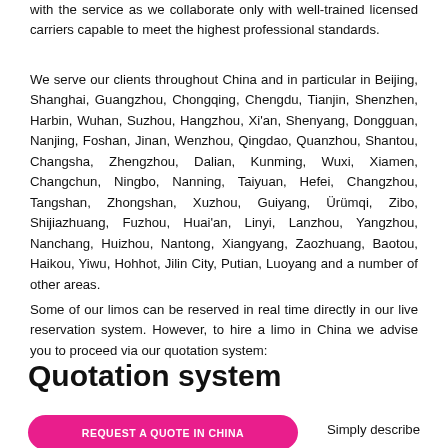with the service as we collaborate only with well-trained licensed carriers capable to meet the highest professional standards.
We serve our clients throughout China and in particular in Beijing, Shanghai, Guangzhou, Chongqing, Chengdu, Tianjin, Shenzhen, Harbin, Wuhan, Suzhou, Hangzhou, Xi'an, Shenyang, Dongguan, Nanjing, Foshan, Jinan, Wenzhou, Qingdao, Quanzhou, Shantou, Changsha, Zhengzhou, Dalian, Kunming, Wuxi, Xiamen, Changchun, Ningbo, Nanning, Taiyuan, Hefei, Changzhou, Tangshan, Zhongshan, Xuzhou, Guiyang, Ürümqi, Zibo, Shijiazhuang, Fuzhou, Huai'an, Linyi, Lanzhou, Yangzhou, Nanchang, Huizhou, Nantong, Xiangyang, Zaozhuang, Baotou, Haikou, Yiwu, Hohhot, Jilin City, Putian, Luoyang and a number of other areas.
Some of our limos can be reserved in real time directly in our live reservation system. However, to hire a limo in China we advise you to proceed via our quotation system:
Quotation system
[Figure (other): Pink rounded button labeled REQUEST A QUOTE IN CHINA]
Simply describe